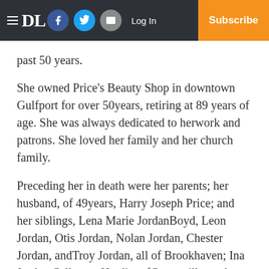DL [newspaper header with navigation: Facebook, Twitter, Email, Log In, Subscribe]
past 50 years.
She owned Price's Beauty Shop in downtown Gulfport for over 50years, retiring at 89 years of age. She was always dedicated to herwork and patrons. She loved her family and her church family.
Preceding her in death were her parents; her husband, of 49years, Harry Joseph Price; and her siblings, Lena Marie JordanBoyd, Leon Jordan, Otis Jordan, Nolan Jordan, Chester Jordan, andTroy Jordan, all of Brookhaven; Ina Jordan Calloway Hardin, ofCenterville; and Etha Jordan Wilson, of